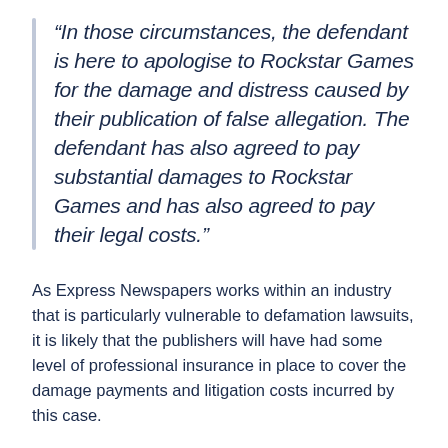“In those circumstances, the defendant is here to apologise to Rockstar Games for the damage and distress caused by their publication of false allegation. The defendant has also agreed to pay substantial damages to Rockstar Games and has also agreed to pay their legal costs.”
As Express Newspapers works within an industry that is particularly vulnerable to defamation lawsuits, it is likely that the publishers will have had some level of professional insurance in place to cover the damage payments and litigation costs incurred by this case.